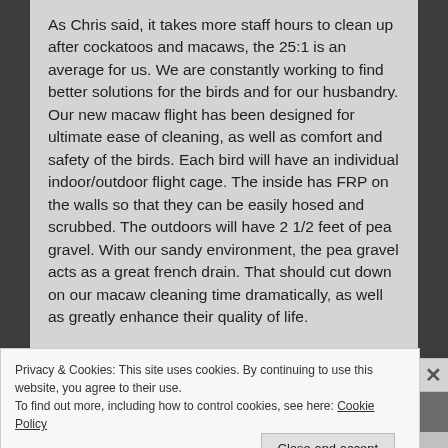As Chris said, it takes more staff hours to clean up after cockatoos and macaws, the 25:1 is an average for us. We are constantly working to find better solutions for the birds and for our husbandry. Our new macaw flight has been designed for ultimate ease of cleaning, as well as comfort and safety of the birds. Each bird will have an individual indoor/outdoor flight cage. The inside has FRP on the walls so that they can be easily hosed and scrubbed. The outdoors will have 2 1/2 feet of pea gravel. With our sandy environment, the pea gravel acts as a great french drain. That should cut down on our macaw cleaning time dramatically, as well as greatly enhance their quality of life.
Privacy & Cookies: This site uses cookies. By continuing to use this website, you agree to their use.
To find out more, including how to control cookies, see here: Cookie Policy
Close and accept